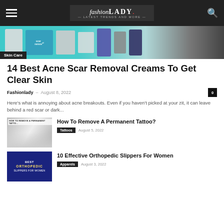fashion LADY — Latest Trends and More —
[Figure (photo): Banner image showing scar removal cream products on a teal background with a 'Skin Care' badge overlay]
14 Best Acne Scar Removal Creams To Get Clear Skin
Fashionlady – August 8, 2022
Here's what is annoying about acne breakouts. Even if you haven't picked at your zit, it can leave behind a red scar or dark...
[Figure (photo): Thumbnail image for 'How To Remove A Permanent Tattoo?' article showing a tattoo removal procedure]
How To Remove A Permanent Tattoo?
Tattoos  August 5, 2022
[Figure (photo): Thumbnail image for '10 Effective Orthopedic Slippers For Women' article with dark blue background and text]
10 Effective Orthopedic Slippers For Women
Apparels  August 3, 2022